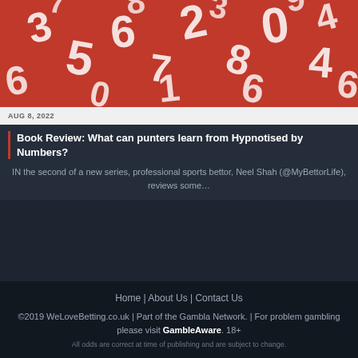[Figure (photo): Red background with white numbers scattered across it (3, 5, 6, 7, 8, 0, 2, 4, etc.)]
AUG 8, 2022
Book Review: What can punters learn from Hypnotised by Numbers?
IN the second of a new series, professional sports bettor, Neel Shah (@MyBettorLife), reviews some…
Home | About Us | Contact Us
©2019 WeLoveBetting.co.uk | Part of the Gambla Network. | For problem gambling please visit GambleAware. 18+
All odds are correct at time of publishing and are subject to change.